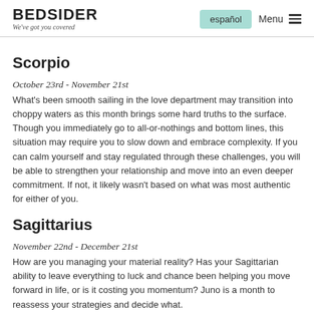BEDSIDER We've got you covered | español | Menu
Scorpio
October 23rd - November 21st
What's been smooth sailing in the love department may transition into choppy waters as this month brings some hard truths to the surface. Though you immediately go to all-or-nothings and bottom lines, this situation may require you to slow down and embrace complexity. If you can calm yourself and stay regulated through these challenges, you will be able to strengthen your relationship and move into an even deeper commitment. If not, it likely wasn't based on what was most authentic for either of you.
Sagittarius
November 22nd - December 21st
How are you managing your material reality? Has your Sagittarian ability to leave everything to luck and chance been helping you move forward in life, or is it costing you momentum? Juno is a month to reassess your strategies and decide what.